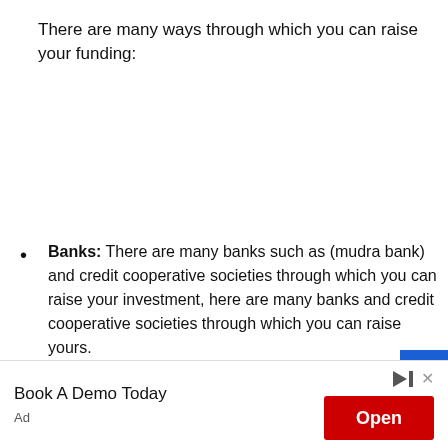There are many ways through which you can raise your funding:
Banks: There are many banks such as (mudra bank) and credit cooperative societies through which you can raise your investment, here are many banks and credit cooperative societies through which you can raise yours.
Funding communities: They provide small investment funds to start your small scale industry.
Sponsors/investors: They provide excellent funding opportunities for your small scale business. You can go for crowdfunding also such
[Figure (other): Advertisement banner: 'Book A Demo Today' with an 'Open' button in red, ad label at bottom left, close/play controls at top right of ad area.]